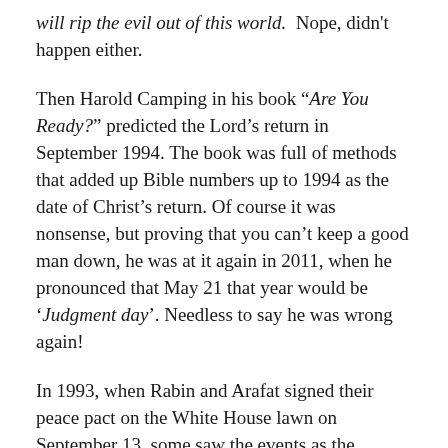will rip the evil out of this world. Nope, didn't happen either.
Then Harold Camping in his book “Are You Ready?” predicted the Lord’s return in September 1994. The book was full of methods that added up Bible numbers up to 1994 as the date of Christ’s return. Of course it was nonsense, but proving that you can’t keep a good man down, he was at it again in 2011, when he pronounced that May 21 that year would be ‘Judgment day’. Needless to say he was wrong again!
In 1993, when Rabin and Arafat signed their peace pact on the White House lawn on September 13, some saw the events as the